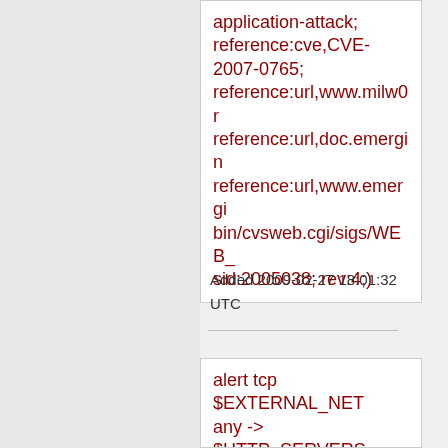application-attack; reference:cve,CVE-2007-0765; reference:url,www.milw0r reference:url,doc.emergin reference:url,www.emergi bin/cvsweb.cgi/sigs/WEB_ sid:2005038; rev:4;)
Added 2009-02-27 18:01:32 UTC
alert tcp $EXTERNAL_NET any -> $HTTP_SERVERS $HTTP_PORTS (msg:"ET WEB_SPECIFIC dB Masters Curium